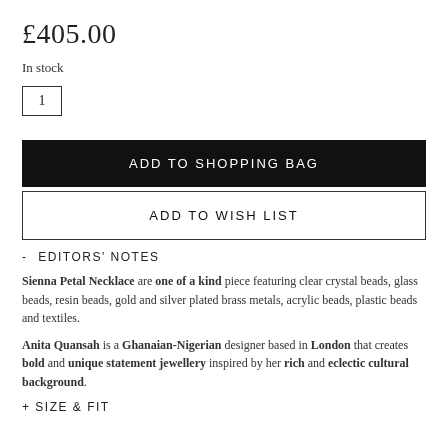£405.00
In stock
1
ADD TO SHOPPING BAG
ADD TO WISH LIST
- EDITORS' NOTES
Sienna Petal Necklace are one of a kind piece featuring clear crystal beads, glass beads, resin beads, gold and silver plated brass metals, acrylic beads, plastic beads and textiles.
Anita Quansah is a Ghanaian-Nigerian designer based in London that creates bold and unique statement jewellery inspired by her rich and eclectic cultural background.
+ SIZE & FIT